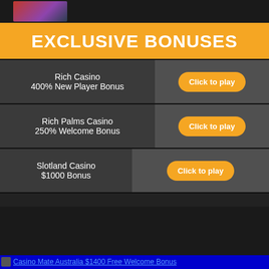[Figure (photo): Top image bar with a dark background and a small colorful image thumbnail on the left]
EXCLUSIVE BONUSES
Rich Casino
400% New Player Bonus
Click to play
Rich Palms Casino
250% Welcome Bonus
Click to play
Slotland Casino
$1000 Bonus
Click to play
Casino Mate Australia $1400 Free Welcome Bonus